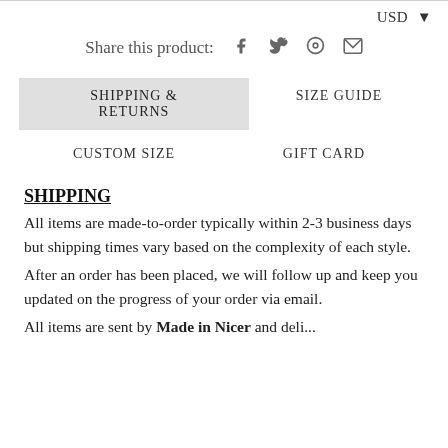USD
Share this product:
SHIPPING & RETURNS   SIZE GUIDE   CUSTOM SIZE   GIFT CARD
SHIPPING
All items are made-to-order typically within 2-3 business days but shipping times vary based on the complexity of each style.
After an order has been placed, we will follow up and keep you updated on the progress of your order via email.
All items are sent by Made in Nicer and delivered...